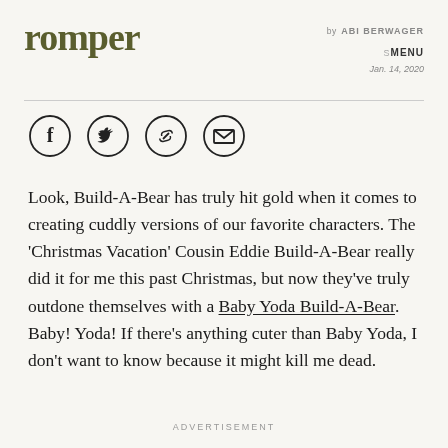romper
by ABI BERWAGER
SMENU
Jan. 14, 2020
[Figure (other): Four circular social sharing icons: Facebook (f), Twitter (bird), link/chain, and email (envelope)]
Look, Build-A-Bear has truly hit gold when it comes to creating cuddly versions of our favorite characters. The 'Christmas Vacation' Cousin Eddie Build-A-Bear really did it for me this past Christmas, but now they've truly outdone themselves with a Baby Yoda Build-A-Bear. Baby! Yoda! If there's anything cuter than Baby Yoda, I don't want to know because it might kill me dead.
ADVERTISEMENT